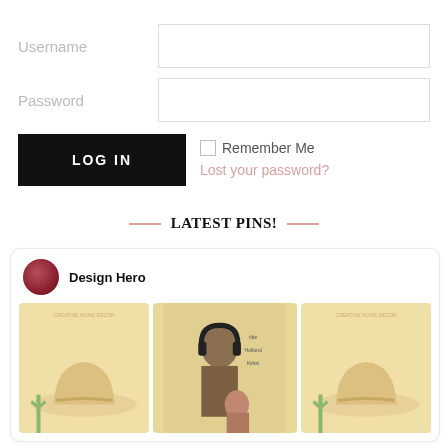Username
Password
LOG IN
Remember Me
Lost your password?
LATEST PINS!
Design Hero
[Figure (screenshot): Three movie/poster images inside a card, showing cowboy hat imagery on left and right, and a man with headphones (movie poster) in center]